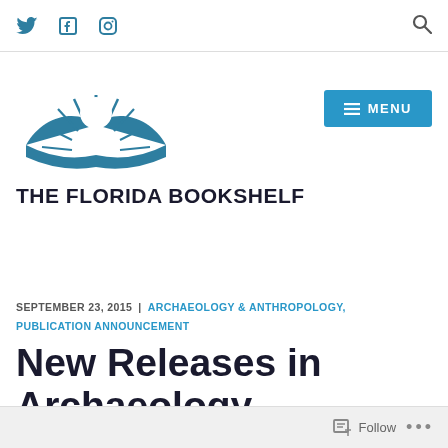Twitter | Facebook | Instagram | Search
[Figure (logo): The Florida Bookshelf logo: teal open book with sun rays above, SVG inline]
THE FLORIDA BOOKSHELF
SEPTEMBER 23, 2015 | ARCHAEOLOGY & ANTHROPOLOGY, PUBLICATION ANNOUNCEMENT
New Releases in Archaeology
Follow ...